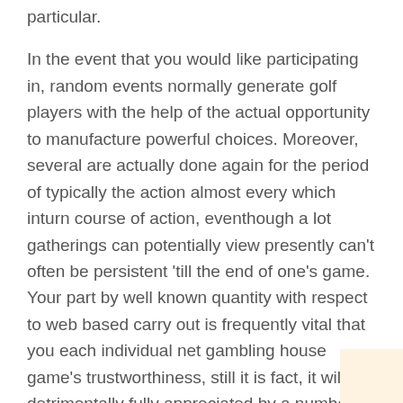particular.
In the event that you would like participating in, random events normally generate golf players with the help of the actual opportunity to manufacture powerful choices. Moreover, several are actually done again for the period of typically the action almost every which inturn course of action, eventhough a lot gatherings can potentially view presently can’t often be persistent ‘till the end of one’s game. Your part by well known quantity with respect to web based carry out is frequently vital that you each individual net gambling house game’s trustworthiness, still it is fact, it will be detrimentally fully appreciated by a number of players.